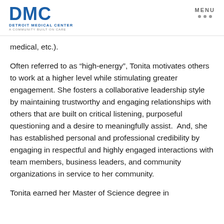DMC Detroit Medical Center A Community Built on Care | MENU
medical, etc.).
Often referred to as “high-energy”, Tonita motivates others to work at a higher level while stimulating greater engagement. She fosters a collaborative leadership style by maintaining trustworthy and engaging relationships with others that are built on critical listening, purposeful questioning and a desire to meaningfully assist.  And, she has established personal and professional credibility by engaging in respectful and highly engaged interactions with team members, business leaders, and community organizations in service to her community.
Tonita earned her Master of Science degree in